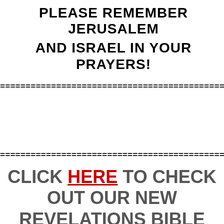PLEASE REMEMBER JERUSALEM AND ISRAEL IN YOUR PRAYERS!
================================================
================================================
CLICK HERE TO CHECK OUT OUR NEW REVELATIONS BIBLE STUDY
================================================